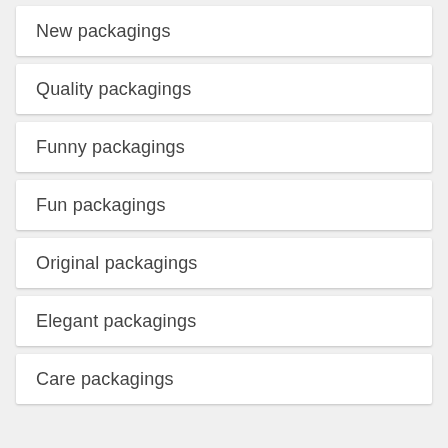New packagings
Quality packagings
Funny packagings
Fun packagings
Original packagings
Elegant packagings
Care packagings